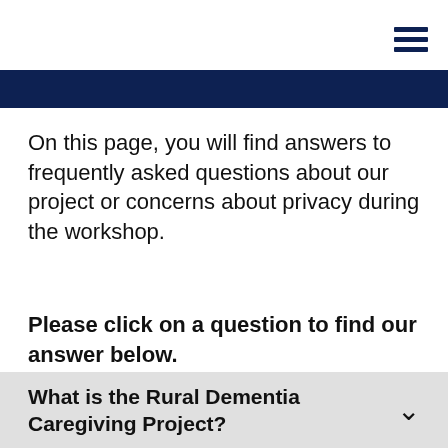☰
On this page, you will find answers to frequently asked questions about our project or concerns about privacy during the workshop.
Please click on a question to find our answer below.
What is the Rural Dementia Caregiving Project?